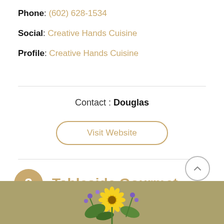Phone: (602) 628-1534
Social: Creative Hands Cuisine
Profile: Creative Hands Cuisine
Contact : Douglas
Visit Website
2 Tableside Gourmet
[Figure (photo): Photo of floral arrangement with sunflowers and purple flowers]